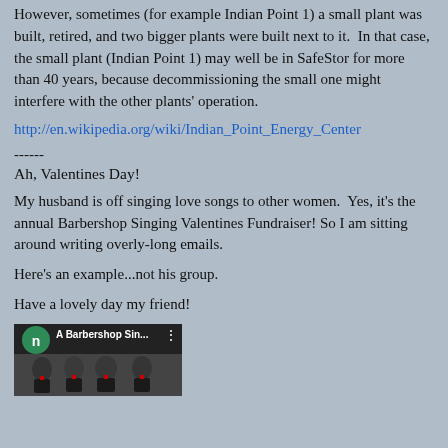However, sometimes (for example Indian Point 1) a small plant was built, retired, and two bigger plants were built next to it. In that case, the small plant (Indian Point 1) may well be in SafeStor for more than 40 years, because decommissioning the small one might interfere with the other plants' operation.
http://en.wikipedia.org/wiki/Indian_Point_Energy_Center
------
Ah, Valentines Day!
My husband is off singing love songs to other women.  Yes, it's the annual Barbershop Singing Valentines Fundraiser! So I am sitting around writing overly-long emails.
Here's an example...not his group.
Have a lovely day my friend!
[Figure (screenshot): Video thumbnail showing 'A Barbershop Sin...' with a green circle icon with 'n', a three-dot menu, and four men in tuxedos with bow ties.]